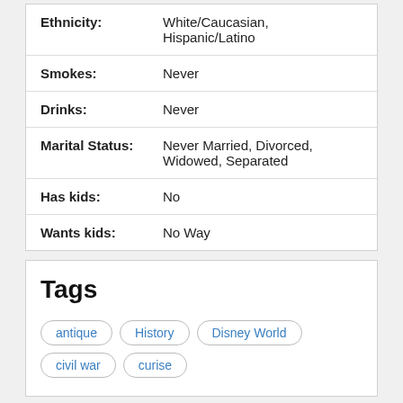| Ethnicity: | White/Caucasian, Hispanic/Latino |
| Smokes: | Never |
| Drinks: | Never |
| Marital Status: | Never Married, Divorced, Widowed, Separated |
| Has kids: | No |
| Wants kids: | No Way |
Tags
antique
History
Disney World
civil war
curise
✉ Send a message
♥ Like